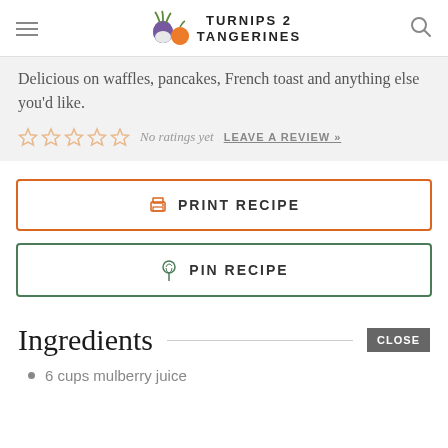TURNIPS 2 TANGERINES
Delicious on waffles, pancakes, French toast and anything else you'd like.
No ratings yet  LEAVE A REVIEW »
[Figure (other): Print Recipe button with printer icon, orange border]
[Figure (other): Pin Recipe button with Pinterest icon, green border]
Ingredients
6 cups mulberry juice